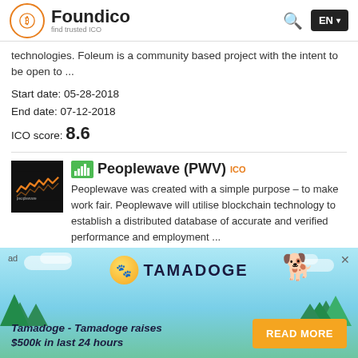Foundico - find trusted ICO | EN
technologies. Foleum is a community based project with the intent to be open to ...
Start date: 05-28-2018
End date: 07-12-2018
ICO score: 8.6
[Figure (logo): Peoplewave logo - dark square with wave pattern]
Peoplewave (PWV) ICO - Peoplewave was created with a simple purpose – to make work fair. Peoplewave will utilise blockchain technology to establish a distributed database of accurate and verified performance and employment ...
Start date: 05-31-2018
End date: 06-06-2018
ICO score: 7.3
[Figure (infographic): Tamadoge advertisement banner - Tamadoge raises $500k in last 24 hours with READ MORE button]